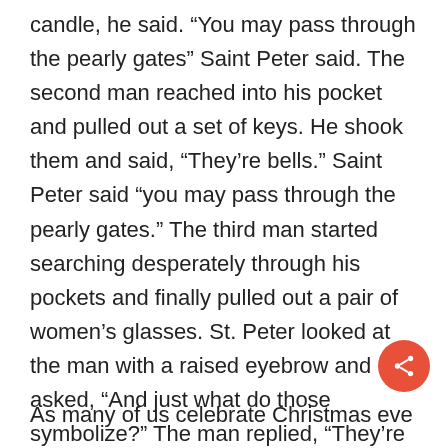candle, he said. “You may pass through the pearly gates” Saint Peter said. The second man reached into his pocket and pulled out a set of keys. He shook them and said, “They’re bells.” Saint Peter said “you may pass through the pearly gates.” The third man started searching desperately through his pockets and finally pulled out a pair of women’s glasses. St. Peter looked at the man with a raised eyebrow and asked, “And just what do those symbolize?” The man replied, “They’re Carol’s.”
As many of us celebrate Christmas eve